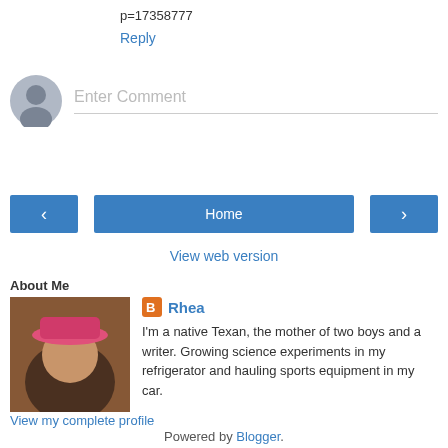p=17358777
Reply
[Figure (other): Comment input field with avatar placeholder icon and 'Enter Comment' placeholder text]
[Figure (other): Navigation buttons: left arrow button, Home button, right arrow button]
View web version
About Me
[Figure (photo): Photo of a woman wearing a pink hat]
Rhea
I'm a native Texan, the mother of two boys and a writer. Growing science experiments in my refrigerator and hauling sports equipment in my car.
View my complete profile
Powered by Blogger.